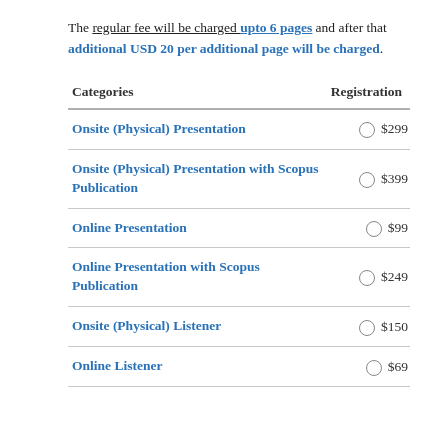The regular fee will be charged upto 6 pages and after that additional USD 20 per additional page will be charged.
| Categories | Registration |
| --- | --- |
| Onsite (Physical) Presentation | $299 |
| Onsite (Physical) Presentation with Scopus Publication | $399 |
| Online Presentation | $99 |
| Online Presentation with Scopus Publication | $249 |
| Onsite (Physical) Listener | $150 |
| Online Listener | $69 |